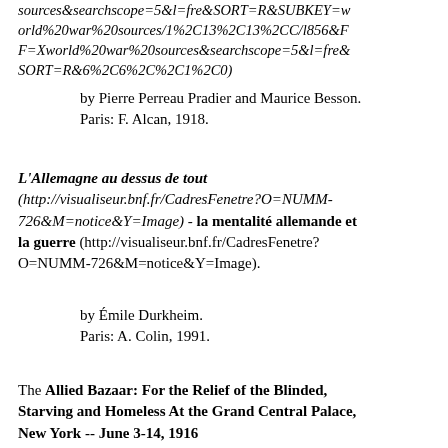sources&searchscope=5&l=fre&SORT=R&SUBKEY=world%20war%20sources/1%2C13%2C13%2CC/l856&FF=Xworld%20war%20sources&searchscope=5&l=fre&SORT=R&6%2C6%2C%2C1%2C0)
by Pierre Perreau Pradier and Maurice Besson.
Paris: F. Alcan, 1918.
L'Allemagne au dessus de tout (http://visualiseur.bnf.fr/CadresFenetre?O=NUMM-726&M=notice&Y=Image) - la mentalité allemande et la guerre (http://visualiseur.bnf.fr/CadresFenetre?O=NUMM-726&M=notice&Y=Image).
by Émile Durkheim.
Paris: A. Colin, 1991.
The Allied Bazaar: For the Relief of the Blinded, Starving and Homeless At the Grand Central Palace, New York -- June 3-14, 1916 (http://digital.library.wisc.edu/1711.dl/History.AlliBazaar)